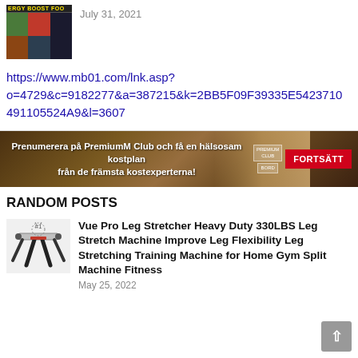[Figure (photo): Thumbnail image showing energy boost foods with colorful food grid including greens, red berries, dark background with banner text 'ERGY BOOST FOO']
July 31, 2021
https://www.mb01.com/lnk.asp?o=4729&c=9182277&a=387215&k=2BB5F09F39335E5423710491105524A9&l=3607
[Figure (photo): Advertisement banner in Swedish: 'Prenumerera på PremiumM Club och få en hälsosam kostplan från de främsta kostexperterna!' with FORTSÄTT button]
RANDOM POSTS
[Figure (illustration): Thumbnail of Vue Pro Leg Stretcher machine product image]
Vue Pro Leg Stretcher Heavy Duty 330LBS Leg Stretch Machine Improve Leg Flexibility Leg Stretching Training Machine for Home Gym Split Machine Fitness
May 25, 2022